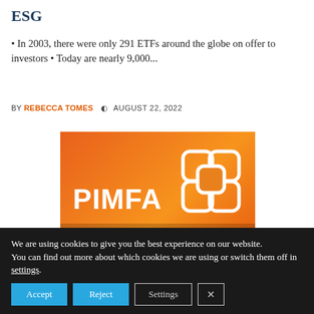ESG
• In 2003, there were only 291 ETFs around the globe on offer to investors • Today are nearly 9,000...
BY REBECCA TOMES  AUGUST 22, 2022
[Figure (logo): PIMFA logo on orange gradient background with chain-link icon]
We are using cookies to give you the best experience on our website.
You can find out more about which cookies we are using or switch them off in settings.